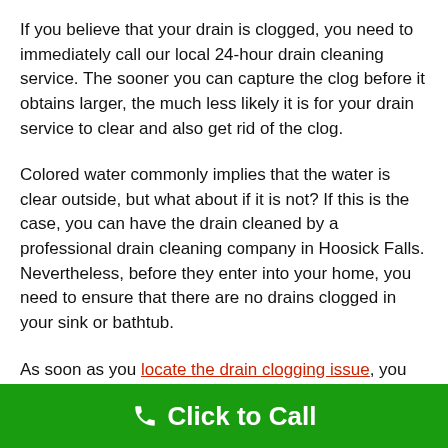If you believe that your drain is clogged, you need to immediately call our local 24-hour drain cleaning service. The sooner you can capture the clog before it obtains larger, the much less likely it is for your drain service to clear and also get rid of the clog.
Colored water commonly implies that the water is clear outside, but what about if it is not? If this is the case, you can have the drain cleaned by a professional drain cleaning company in Hoosick Falls. Nevertheless, before they enter into your home, you need to ensure that there are no drains clogged in your sink or bathtub.
As soon as you locate the drain clogging issue, you need to act immediately. You can use drain cleaners to get over-the-counter at the shop, but don't attempt to clean the drain on your own because that will probably lead to
Click to Call